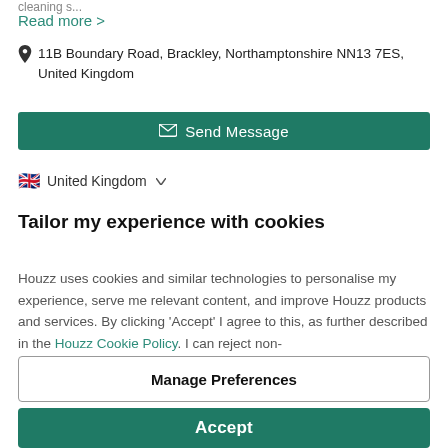cleaning s...
Read more >
11B Boundary Road, Brackley, Northamptonshire NN13 7ES, United Kingdom
Send Message
United Kingdom
Tailor my experience with cookies
Houzz uses cookies and similar technologies to personalise my experience, serve me relevant content, and improve Houzz products and services. By clicking 'Accept' I agree to this, as further described in the Houzz Cookie Policy. I can reject non-
Manage Preferences
Accept